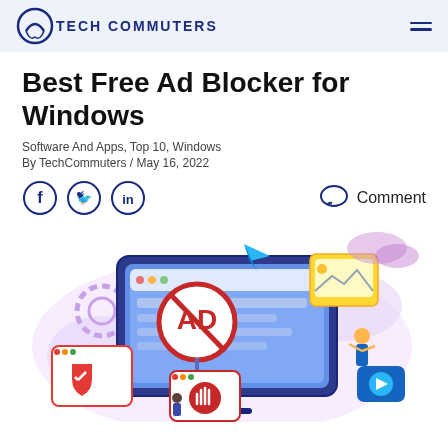TECH COMMUTERS
Best Free Ad Blocker for Windows
Software And Apps, Top 10, Windows
By TechCommuters / May 16, 2022
[Figure (other): Social share icons (Facebook, Twitter, LinkedIn) and a Comment button with speech bubble icon]
[Figure (illustration): Colorful illustration showing a monitor with an AD blocked sign (red circle with AD crossed out), a person holding a stop-hand sign, browser windows with shield and X icon, a play button, a person holding an image placeholder, gears, paper plane, and purple/pink cloud shapes in the background.]